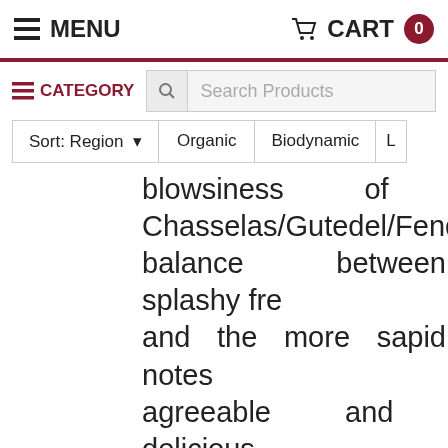MENU | CART 0
≡ CATEGORY | Search Products
Sort: Region ▾ | Organic | Biodynamic | L
blowsiness of Chasselas/Gutedel/Fendent. balance between splashy fre and the more sapid notes agreeable and delicious. McIlwain
white | 0 in stock | $31.99  Ou
Organic | Biodynamic | Low Sulf